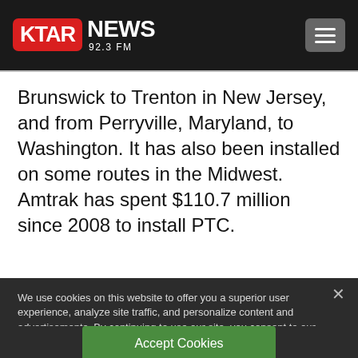KTAR NEWS 92.3 FM
Brunswick to Trenton in New Jersey, and from Perryville, Maryland, to Washington. It has also been installed on some routes in the Midwest. Amtrak has spent $110.7 million since 2008 to install PTC.
We use cookies on this website to offer you a superior user experience, analyze site traffic, and personalize content and advertisements. By continuing to use our site, you consent to our use of cookies. Please visit our Privacy Policy for more information.
Accept Cookies